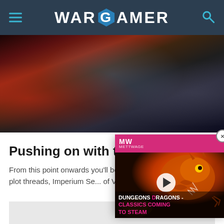WARGAMER
[Figure (illustration): Warhammer 40K battle scene with red and grey Space Marine miniatures fighting in a ruined cityscape with lightning effects]
Pushing on with the plot
From this point onwards you'll be following two plot threads, Imperium Se... of Vulkan.
[Figure (screenshot): Video overlay popup with MW logo on pink header, showing a Dungeons & Dragons - Classics Coming to Steam promotional video with a dragon illustration and play button]